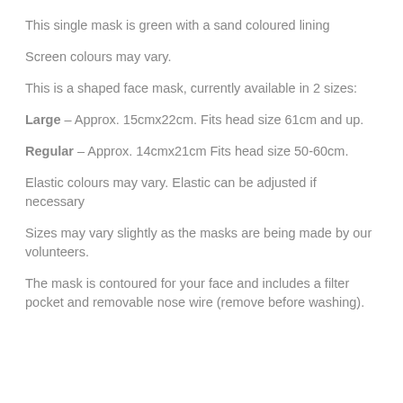This single mask is green with a sand coloured lining
Screen colours may vary.
This is a shaped face mask, currently available in 2 sizes:
Large – Approx. 15cmx22cm. Fits head size 61cm and up.
Regular – Approx. 14cmx21cm Fits head size 50-60cm.
Elastic colours may vary. Elastic can be adjusted if necessary
Sizes may vary slightly as the masks are being made by our volunteers.
The mask is contoured for your face and includes a filter pocket and removable nose wire (remove before washing).